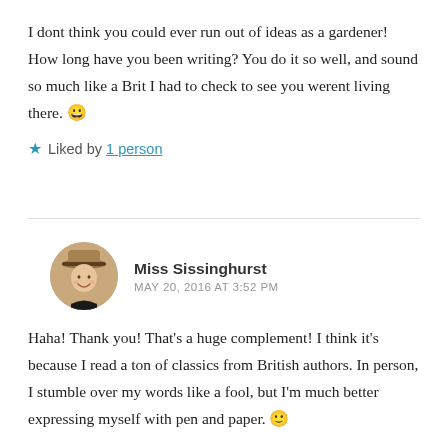I dont think you could ever run out of ideas as a gardener! How long have you been writing? You do it so well, and sound so much like a Brit I had to check to see you werent living there. 😀
★ Liked by 1 person
Miss Sissinghurst
MAY 20, 2016 AT 3:52 PM
Haha! Thank you! That's a huge complement! I think it's because I read a ton of classics from British authors. In person, I stumble over my words like a fool, but I'm much better expressing myself with pen and paper. 🙂